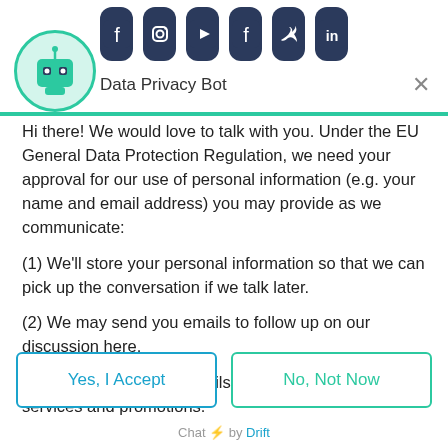[Figure (illustration): Data Privacy Bot chat widget header with bot avatar (green robot icon), social media icons (Facebook, Instagram, YouTube, Facebook, Twitter, LinkedIn) at top, bot name 'Data Privacy Bot', and close X button]
Hi there! We would love to talk with you. Under the EU General Data Protection Regulation, we need your approval for our use of personal information (e.g. your name and email address) you may provide as we communicate:
(1) We'll store your personal information so that we can pick up the conversation if we talk later.
(2) We may send you emails to follow up on our discussion here.
(3) We may send you emails about our upcoming services and promotions.
Yes, I Accept
No, Not Now
Chat ⚡ by Drift